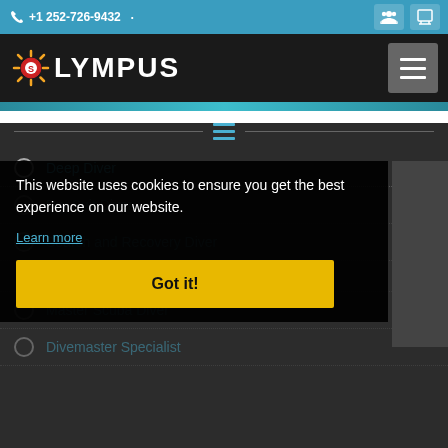+1 252-726-9432
[Figure (logo): Olympus diving website logo with sun icon on black header bar]
[Figure (screenshot): Teal/cyan decorative strip below header]
Deep Diver
Dry Suit Diver
Search and Recovery Diver
Master Scuba Diver
Divemaster Specialist
This website uses cookies to ensure you get the best experience on our website.
Learn more
Got it!